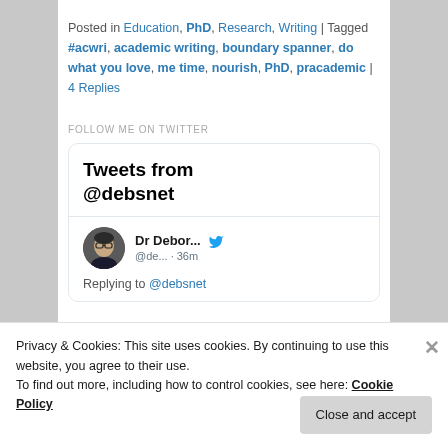Posted in Education, PhD, Research, Writing | Tagged #acwri, academic writing, boundary spanner, do what you love, me time, nourish, PhD, pracademic | 4 Replies
FOLLOW ME ON TWITTER
[Figure (screenshot): Twitter widget showing 'Tweets from @debsnet' header and a tweet by Dr Debor... (@de... · 36m) replying to @debsnet, with a circular avatar photo and Twitter bird icon.]
Privacy & Cookies: This site uses cookies. By continuing to use this website, you agree to their use.
To find out more, including how to control cookies, see here: Cookie Policy
Close and accept